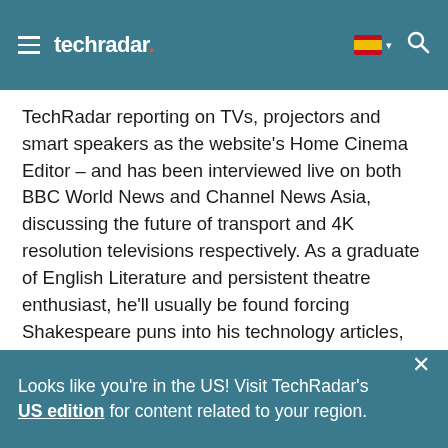techradar
TechRadar reporting on TVs, projectors and smart speakers as the website's Home Cinema Editor – and has been interviewed live on both BBC World News and Channel News Asia, discussing the future of transport and 4K resolution televisions respectively. As a graduate of English Literature and persistent theatre enthusiast, he'll usually be found forcing Shakespeare puns into his technology articles, which he thinks is what the Bard would have wanted. Bylines also include Edge, T3, and Little White Lies.
Looks like you're in the US! Visit TechRadar's US edition for content related to your region.